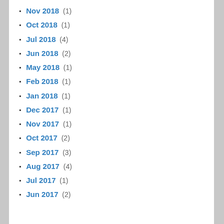Nov 2018 (1)
Oct 2018 (1)
Jul 2018 (4)
Jun 2018 (2)
May 2018 (1)
Feb 2018 (1)
Jan 2018 (1)
Dec 2017 (1)
Nov 2017 (1)
Oct 2017 (2)
Sep 2017 (3)
Aug 2017 (4)
Jul 2017 (1)
Jun 2017 (2)
Privacy & Cookies: This site uses cookies. By continuing to use this website, you agree to their use. To find out more, including how to control cookies, see here: Cookie Policy